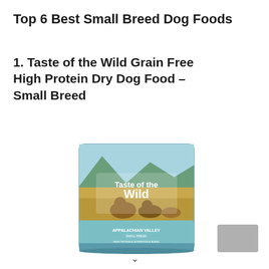Top 6 Best Small Breed Dog Foods
1. Taste of the Wild Grain Free High Protein Dry Dog Food – Small Breed
[Figure (photo): Product image of Taste of the Wild Appalachian Valley Small Breed dry dog food bag, featuring illustrations of dogs in a field with mountains in the background, teal/blue-green bag color.]